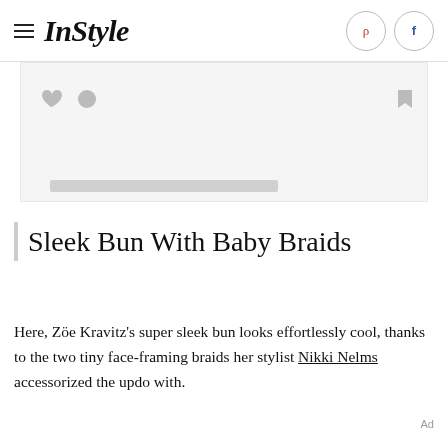InStyle
[Figure (screenshot): Placeholder image area with heart and speech bubble icons on left, bookmark icon on right, and a gray progress/loading bar at bottom]
Sleek Bun With Baby Braids
Here, Zöe Kravitz's super sleek bun looks effortlessly cool, thanks to the two tiny face-framing braids her stylist Nikki Nelms accessorized the updo with.
Ad